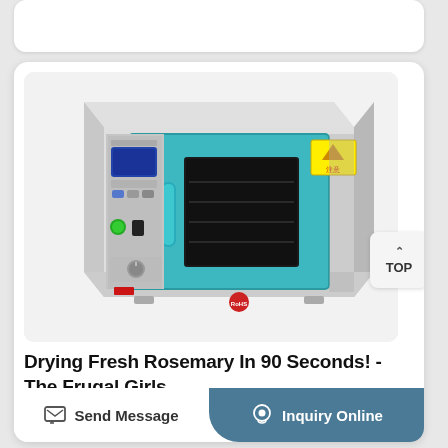[Figure (photo): Laboratory drying oven / hot air oven with teal/blue door, transparent window, digital control panel on left side, model DHG-9030A, with warning label on top right corner. White exterior casing. Red RoHS label at bottom.]
Drying Fresh Rosemary In 90 Seconds! - The Frugal Girls
Send Message
Inquiry Online